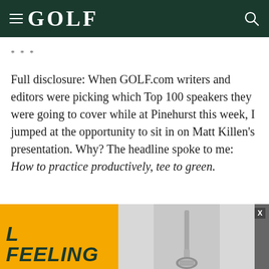GOLF
* * *
Full disclosure: When GOLF.com writers and editors were picking which Top 100 speakers they were going to cover while at Pinehurst this week, I jumped at the opportunity to sit in on Matt Killen’s presentation. Why? The headline spoke to me: How to practice productively, tee to green.
[Figure (illustration): Advertisement banner showing italic bold text 'FEELING' on yellow background and a golf iron club image on grey background with a dark panel and close button 'X']